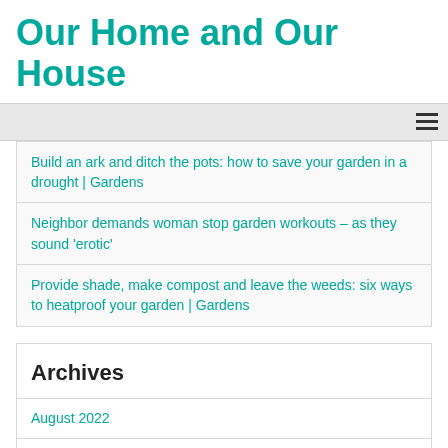Our Home and Our House
Build an ark and ditch the pots: how to save your garden in a drought | Gardens
Neighbor demands woman stop garden workouts – as they sound 'erotic'
Provide shade, make compost and leave the weeds: six ways to heatproof your garden | Gardens
Archives
August 2022
July 2022